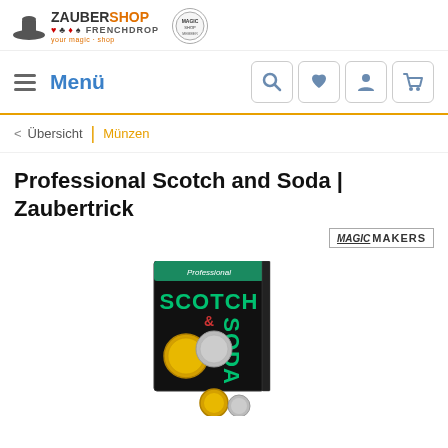[Figure (logo): ZauberShop FrenchDrop logo with hat icon, playing card suits, and partner badge]
Menü
< Übersicht | Münzen
Professional Scotch and Soda | Zaubertrick
[Figure (logo): Magic Makers brand logo in bordered box]
[Figure (photo): Product photo showing Professional Scotch and Soda magic trick set — a DVD/booklet case with SCOTCH & SODA text and coin images, plus two coins (gold and silver) displayed in front]